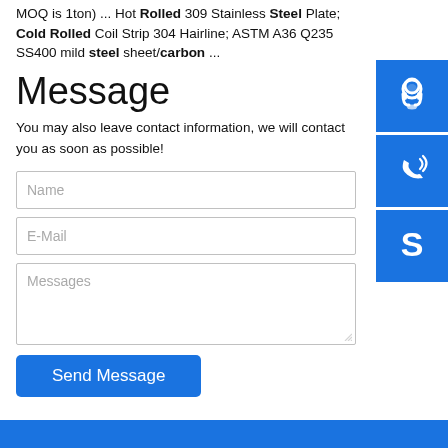MOQ is 1ton) ... Hot Rolled 309 Stainless Steel Plate; Cold Rolled Coil Strip 304 Hairline; ASTM A36 Q235 SS400 mild steel sheet/carbon ...
Message
You may also leave contact information, we will contact you as soon as possible!
[Figure (other): Customer support headset icon in blue square]
[Figure (other): Phone/call icon in blue square]
[Figure (other): Skype icon in blue square]
Name (form input placeholder)
E-Mail (form input placeholder)
Messages (textarea placeholder)
Send Message (button)